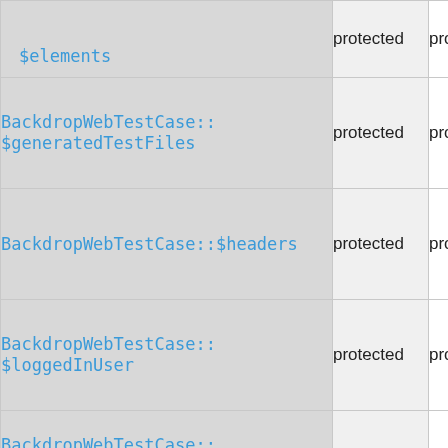| Name | Visibility | Type |
| --- | --- | --- |
| $elements | protected | prop |
| BackdropWebTestCase::$generatedTestFiles | protected | prop |
| BackdropWebTestCase::$headers | protected | prop |
| BackdropWebTestCase::$loggedInUser | protected | prop |
| BackdropWebTestCase::$maximumRedirects | protected | prop |